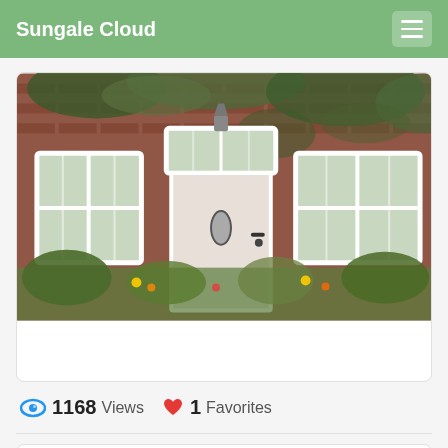Sungale Cloud
[Figure (photo): Photograph of a charming brick cottage with a white door, white-framed windows, ivy covering the brick walls, and lush green plants and flowers in front.]
1168 Views   1 Favorites
Shared By: Lani